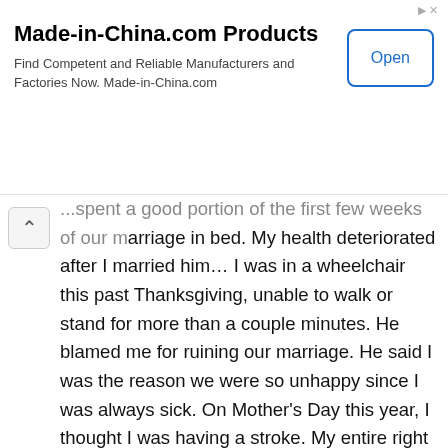[Figure (screenshot): Advertisement banner for Made-in-China.com Products with title, description text, and Open button]
...spent a good portion of the first few weeks of our marriage in bed. My health deteriorated after I married him… I was in a wheelchair this past Thanksgiving, unable to walk or stand for more than a couple minutes. He blamed me for ruining our marriage. He said I was the reason we were so unhappy since I was always sick. On Mother's Day this year, I thought I was having a stroke. My entire right side of my face was drooping and I couldn't move my right arm. He stood over me and told me what a fraud I was and that he would've never married me if I'd been honest about how sick I was. When I finally left him in June, he started raging and saying that I had slept through the whole marriage. He even messaged my mother to tell her what a failure of a daughter she'd raised because I was sick. I have never been treated as poorly as this